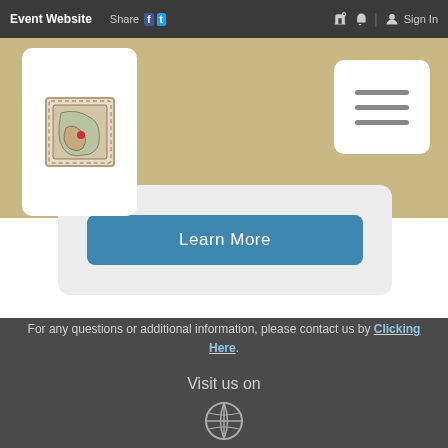Event Website  |  Share  |  Sign In
[Figure (logo): White card with a decorative stamp/postcard illustration logo]
[Figure (illustration): Hamburger menu button (three horizontal lines)]
[Figure (other): Learn More button in teal/blue color inside a light gray rounded card]
For any questions or additional information, please contact us by Clicking Here.
Visit us on
[Figure (illustration): Globe/world icon in gray]